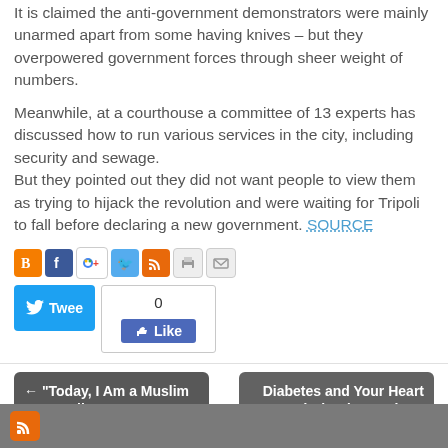It is claimed the anti-government demonstrators were mainly unarmed apart from some having knives – but they overpowered government forces through sheer weight of numbers.
Meanwhile, at a courthouse a committee of 13 experts has discussed how to run various services in the city, including security and sewage.
But they pointed out they did not want people to view them as trying to hijack the revolution and were waiting for Tripoli to fall before declaring a new government. SOURCE
[Figure (infographic): Social sharing icons: Blogger, Facebook, Google+, Twitter, RSS, Print, Email]
[Figure (infographic): Tweet button and Facebook Like button with count 0]
← "Today, I Am a Muslim Too" Rally
Diabetes and Your Heart and Blood Vessels →
[Figure (infographic): Bottom gray bar with RSS icon]